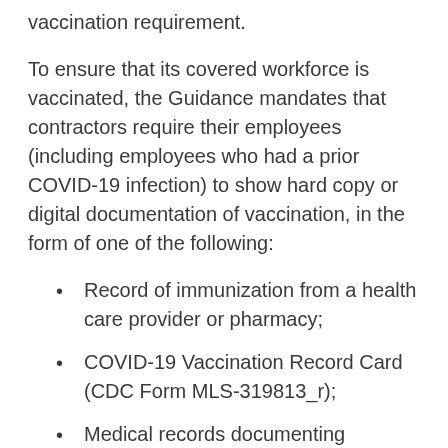vaccination requirement.
To ensure that its covered workforce is vaccinated, the Guidance mandates that contractors require their employees (including employees who had a prior COVID-19 infection) to show hard copy or digital documentation of vaccination, in the form of one of the following:
Record of immunization from a health care provider or pharmacy;
COVID-19 Vaccination Record Card (CDC Form MLS-319813_r);
Medical records documenting vaccination;
Immunization records from a public health or State immunization system; or